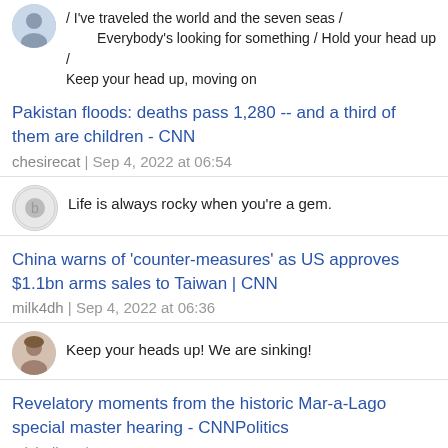/ I've traveled the world and the seven seas / Everybody's looking for something / Hold your head up / Keep your head up, moving on
Pakistan floods: deaths pass 1,280 -- and a third of them are children - CNN
chesirecat | Sep 4, 2022 at 06:54
Life is always rocky when you're a gem.
China warns of 'counter-measures' as US approves $1.1bn arms sales to Taiwan | CNN
milk4dh | Sep 4, 2022 at 06:36
Keep your heads up! We are sinking!
Revelatory moments from the historic Mar-a-Lago special master hearing - CNNPolitics
MichelleW | Sep 4, 2022 at 06:33
I believe we should all pay our tax bill with a smile. I